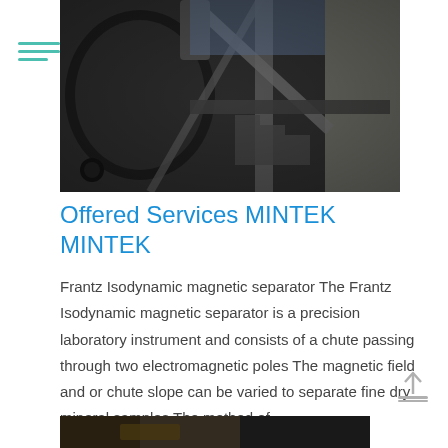[Figure (photo): Industrial machinery photo — large mechanical equipment with metal framework, circular drum/vessel, steel structure and staircases, photographed from below looking up, dark industrial setting with concrete in background.]
Offered Services MINTEK MINTEK
Frantz Isodynamic magnetic separator The Frantz Isodynamic magnetic separator is a precision laboratory instrument and consists of a chute passing through two electromagnetic poles The magnetic field and or chute slope can be varied to separate fine dry mineral samples The method of